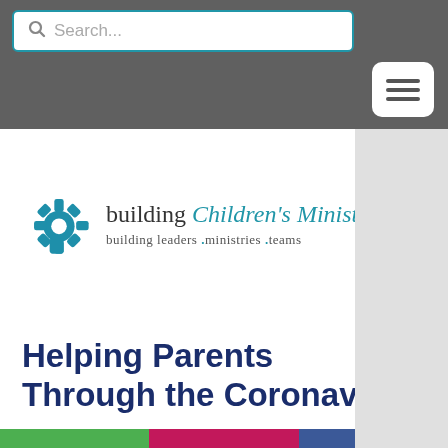[Figure (screenshot): Search bar with magnifying glass icon and placeholder text 'Search...' on dark grey background]
[Figure (screenshot): Hamburger menu button (three horizontal lines) in white rounded rectangle on dark grey background]
[Figure (logo): Building Children's Ministry logo with blue gear icon, text 'building Children's Ministry' and tagline 'building leaders .ministries .teams']
Helping Parents Through the Coronavirus
[Figure (screenshot): Social sharing bar with phone icon (green), email icon (pink/magenta), and Facebook icon (blue)]